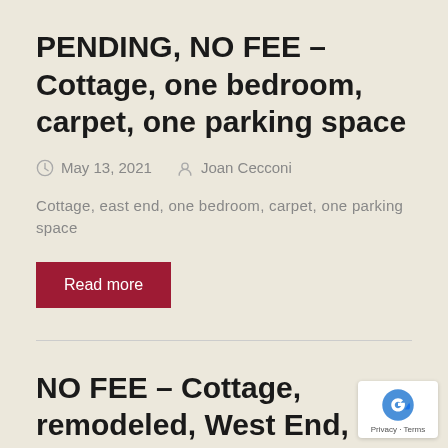PENDING, NO FEE – Cottage, one bedroom, carpet, one parking space
May 13, 2021  Joan Cecconi
Cottage, east end, one bedroom, carpet, one parking space
Read more
NO FEE – Cottage, remodeled, West End, near shops &